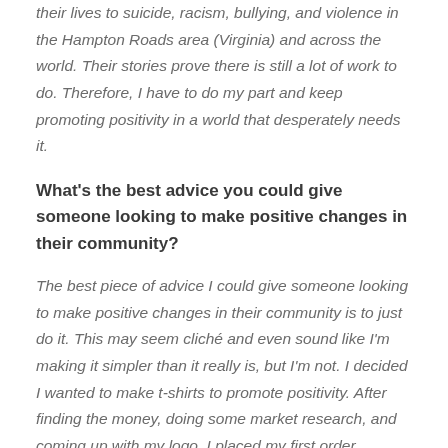their lives to suicide, racism, bullying, and violence in the Hampton Roads area (Virginia) and across the world. Their stories prove there is still a lot of work to do. Therefore, I have to do my part and keep promoting positivity in a world that desperately needs it.
What's the best advice you could give someone looking to make positive changes in their community?
The best piece of advice I could give someone looking to make positive changes in their community is to just do it. This may seem cliché and even sound like I'm making it simpler than it really is, but I'm not. I decided I wanted to make t-shirts to promote positivity. After finding the money, doing some market research, and coming up with my logo, I placed my first order approximately one